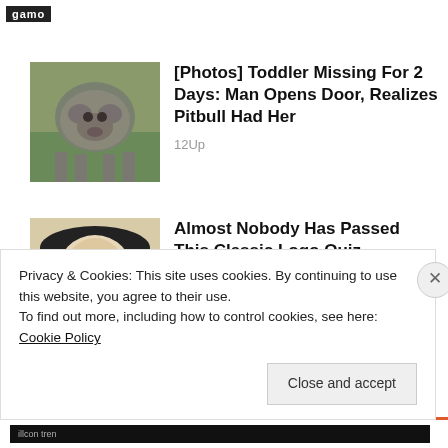gamo
[Figure (photo): Photo of a pitbull dog standing outdoors on grass]
[Photos] Toddler Missing For 2 Days: Man Opens Door, Realizes Pitbull Had Her
12Up
[Figure (photo): Illustration of a colonial-era man with white powdered wig and black hat]
Almost Nobody Has Passed This Classic Logo Quiz
WarpedSpeed
Privacy & Cookies: This site uses cookies. By continuing to use this website, you agree to their use.
To find out more, including how to control cookies, see here: Cookie Policy
Close and accept